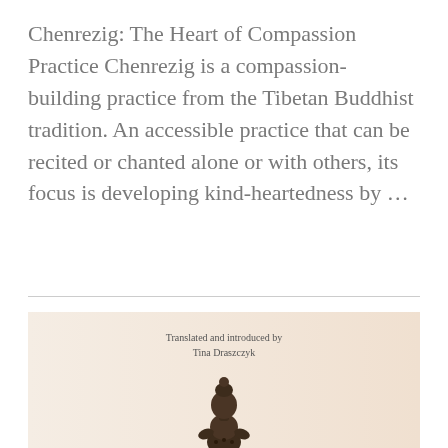Chenrezig: The Heart of Compassion Practice Chenrezig is a compassion-building practice from the Tibetan Buddhist tradition. An accessible practice that can be recited or chanted alone or with others, its focus is developing kind-heartedness by ...
[Figure (photo): Book cover or illustration showing a Buddhist statue (likely Chenrezig/Avalokiteshvara) with text 'Translated and introduced by Tina Draszczyk' above it, against a warm peach/cream background.]